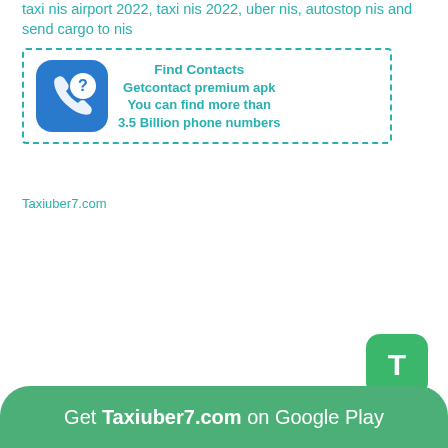taxi nis airport 2022, taxi nis 2022, uber nis, autostop nis and send cargo to nis
[Figure (other): Advertisement box with dashed teal border containing a blue phone/chat icon on the left and teal bold text: 'Find Contacts', 'Getcontact premium apk', 'You can find more than', '3.5 Billion phone numbers']
Taxiuber7.com
[Figure (other): Green rounded button with white letter T]
Get Taxiuber7.com on Google Play